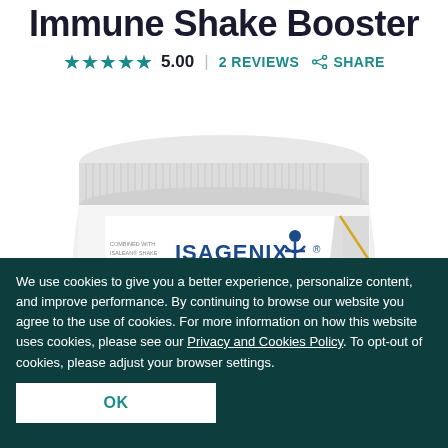Immune Shake Booster
★★★★★ 5.00 | 2 REVIEWS  SHARE
[Figure (photo): White Isagenix Shake Booster Immune Dietary Supplement container/tub, shown from slightly above, with ridged white lid and label showing ISAGENIX logo, 'Shake Booster', 'Immune' in orange, and 'Dietary Supplement' text]
We use cookies to give you a better experience, personalize content, and improve performance. By continuing to browse our website you agree to the use of cookies. For more information on how this website uses cookies, please see our Privacy and Cookies Policy. To opt-out of cookies, please adjust your browser settings.
OK